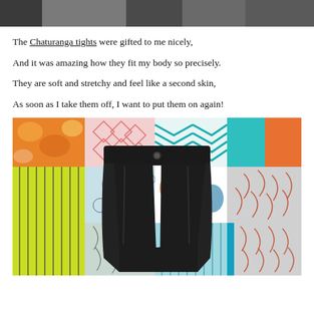[Figure (photo): Top portion of a photo showing people, cropped at the top of the page]
The Chaturanga tights were gifted to me nicely,
And it was amazing how they fit my body so precisely.
They are soft and stretchy and feel like a second skin,
As soon as I take them off, I want to put them on again!
[Figure (photo): Photo of black yoga tights/shorts laid flat on a colorful patchwork quilt with orange floral, teal chevron, yellow-green striped, and grey leaf patterns]